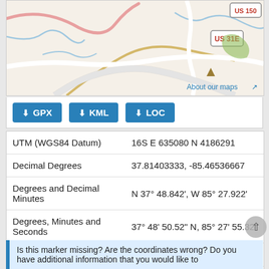[Figure (map): Road map showing US 31E and US 150 highway labels with terrain, roads, and a triangle marker. Link 'About our maps' in lower right.]
GPX  KML  LOC (download buttons)
| Field | Value |
| --- | --- |
| UTM (WGS84 Datum) | 16S E 635080 N 4186291 |
| Decimal Degrees | 37.81403333, -85.46536667 |
| Degrees and Decimal Minutes | N 37° 48.842', W 85° 27.922' |
| Degrees, Minutes and Seconds | 37° 48' 50.52" N, 85° 27' 55.32" |
| Driving Directions | Google Maps 🔗 |
| Area Code(s) | 502 |
| Which side of the road? | Marker is on the right when tr |
| Closest Postal Address | At or near 324 N 3rd St, Bards |
| Alternative Maps | Google Maps, MapQuest, Bin |
Is this marker missing? Are the coordinates wrong? Do you have additional information that you would like to